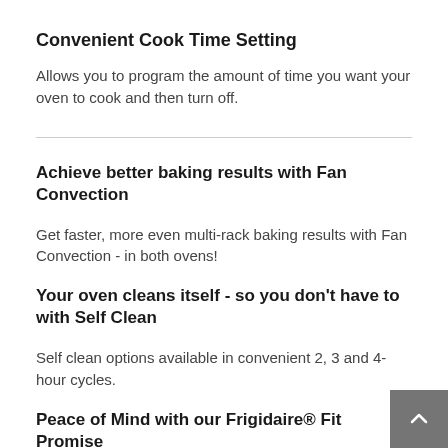Convenient Cook Time Setting
Allows you to program the amount of time you want your oven to cook and then turn off.
Achieve better baking results with Fan Convection
Get faster, more even multi-rack baking results with Fan Convection - in both ovens!
Your oven cleans itself - so you don't have to with Self Clean
Self clean options available in convenient 2, 3 and 4-hour cycles.
Peace of Mind with our Frigidaire® Fit Promise
We promise that your new 30" Frigidaire® double wall oven will fit your existing cabinet cutout of the same width